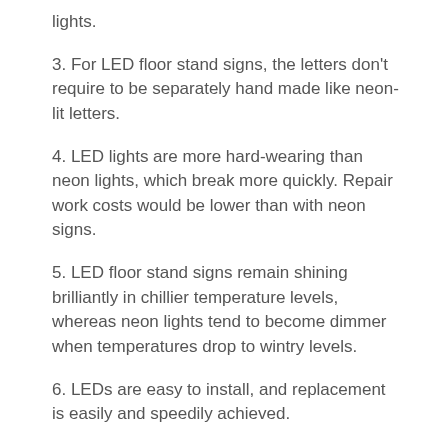lights.
3. For LED floor stand signs, the letters don't require to be separately hand made like neon-lit letters.
4. LED lights are more hard-wearing than neon lights, which break more quickly. Repair work costs would be lower than with neon signs.
5. LED floor stand signs remain shining brilliantly in chillier temperature levels, whereas neon lights tend to become dimmer when temperatures drop to wintry levels.
6. LEDs are easy to install, and replacement is easily and speedily achieved.
7. The wiring for LED signs needs smaller pass-